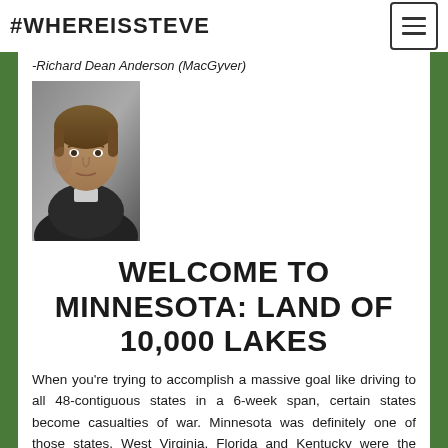#WHEREISSTEVE
-Richard Dean Anderson (MacGyver)
[Figure (photo): Black and white portrait photo of Richard Dean Anderson as MacGyver]
WELCOME TO MINNESOTA: LAND OF 10,000 LAKES
When you’re trying to accomplish a massive goal like driving to all 48-contiguous states in a 6-week span, certain states become casualties of war. Minnesota was definitely one of those states. West Virginia, Florida and Kentucky were the others.
And a side note: I don’t remember seeing any of the